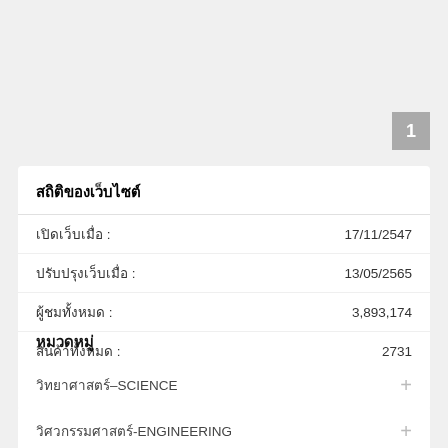1
สถิติของเว็บไซต์
| ข้อมูล | ค่า |
| --- | --- |
| เปิดเว็บเมื่อ : | 17/11/2547 |
| ปรับปรุงเว็บเมื่อ : | 13/05/2565 |
| ผู้ชมทั้งหมด : | 3,893,174 |
| สินค้าทั้งหมด : | 2731 |
หมวดหมู่
วิทยาศาสตร์–SCIENCE
วิศวกรรมศาสตร์-ENGINEERING